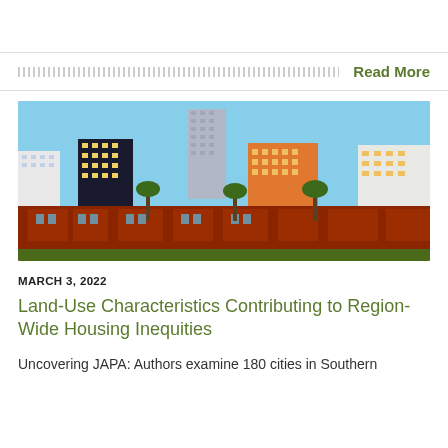Read More
[Figure (photo): Cityscape showing colorful high-rise apartment buildings with yellow, orange, black and white facades behind lower red-brick residential buildings with palm trees in the foreground, under a blue sky.]
MARCH 3, 2022
Land-Use Characteristics Contributing to Region-Wide Housing Inequities
Uncovering JAPA: Authors examine 180 cities in Southern